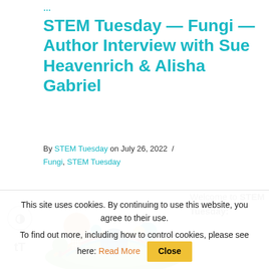STEM Tuesday — Fungi — Author Interview with Sue Heavenrich & Alisha Gabriel
By STEM Tuesday on July 26, 2022 / Fungi, STEM Tuesday
[Figure (illustration): Colorful illustrated globe with trees, buildings, and educational icons representing STEM topics]
Welcome to STEM Tuesday:
This site uses cookies. By continuing to use this website, you agree to their use. To find out more, including how to control cookies, please see here: Read More